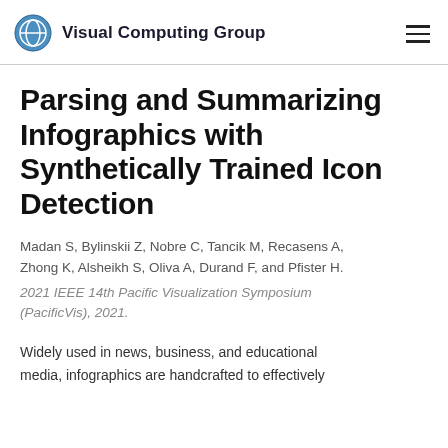Visual Computing Group
Parsing and Summarizing Infographics with Synthetically Trained Icon Detection
Madan S, Bylinskii Z, Nobre C, Tancik M, Recasens A, Zhong K, Alsheikh S, Oliva A, Durand F, and Pfister H.
2021 IEEE 14th Pacific Visualization Symposium (PacificVis), 2021.
Widely used in news, business, and educational media, infographics are handcrafted to effectively